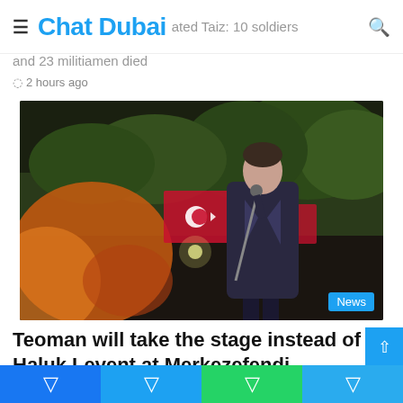Chat Dubai
...ated Taiz: 10 soldiers and 23 militiamen died
2 hours ago
[Figure (photo): A man in a dark jacket holding a microphone stand on stage with Turkish flags and crowds in the background at night.]
News
Teoman will take the stage instead of Haluk Levent at Merkezefendi